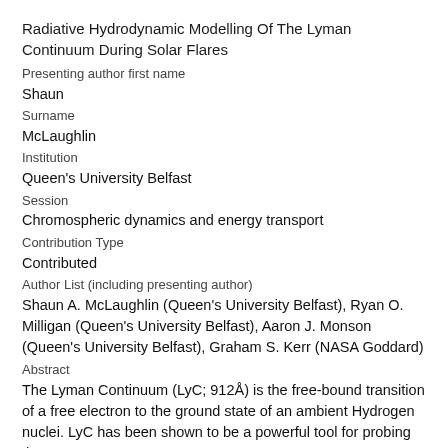Radiative Hydrodynamic Modelling Of The Lyman Continuum During Solar Flares
Presenting author first name
Shaun
Surname
McLaughlin
Institution
Queen's University Belfast
Session
Chromospheric dynamics and energy transport
Contribution Type
Contributed
Author List (including presenting author)
Shaun A. McLaughlin (Queen's University Belfast), Ryan O. Milligan (Queen's University Belfast), Aaron J. Monson (Queen's University Belfast), Graham S. Kerr (NASA Goddard)
Abstract
The Lyman Continuum (LyC; 912Å) is the free-bound transition of a free electron to the ground state of an ambient Hydrogen nuclei. LyC has been shown to be a powerful tool for probing the